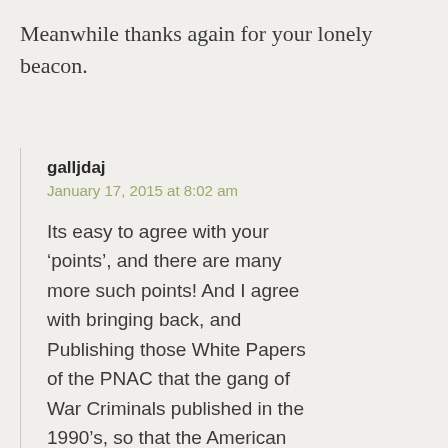Meanwhile thanks again for your lonely beacon.
galljdaj
January 17, 2015 at 8:02 am
Its easy to agree with your ‘points’, and there are many more such points! And I agree with bringing back, and Publishing those White Papers of the PNAC that the gang of War Criminals published in the 1990’s, so that the American Peoples can read and understand just how much they have been lied to!